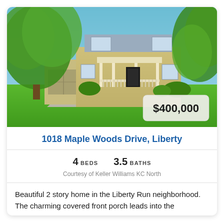[Figure (photo): Exterior photo of a two-story home with covered front porch, attached garage, green trees and lawn, blue sky background]
1018 Maple Woods Drive, Liberty
4 BEDS   3.5 BATHS
Courtesy of Keller Williams KC North
Beautiful 2 story home in the Liberty Run neighborhood. The charming covered front porch leads into the